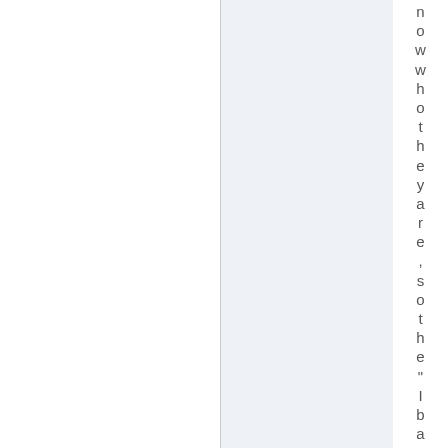nowwhothere, so the" I bangedace